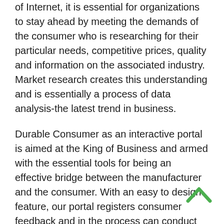of Internet, it is essential for organizations to stay ahead by meeting the demands of the consumer who is researching for their particular needs, competitive prices, quality and information on the associated industry. Market research creates this understanding and is essentially a process of data analysis-the latest trend in business.
Durable Consumer as an interactive portal is aimed at the King of Business and armed with the essential tools for being an effective bridge between the manufacturer and the consumer. With an easy to design feature, our portal registers consumer feedback and in the process can conduct an exhaustive on line research without the expense and hassle of a third party. With the feature of online survey in Durable Consumer, organizations can gather business intelligence and blossom to further new heights